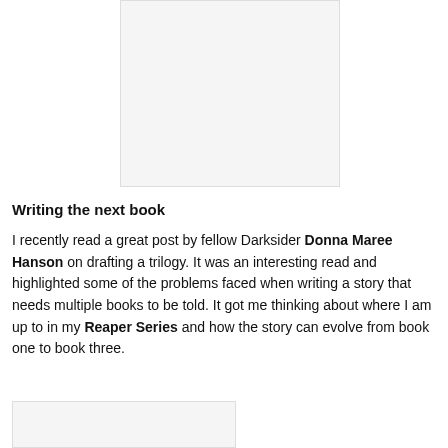[Figure (photo): Partial image visible at top center of the page, appears to be a book cover or illustration, mostly white/blank]
Writing the next book
I recently read a great post by fellow Darksider Donna Maree Hanson on drafting a trilogy. It was an interesting read and highlighted some of the problems faced when writing a story that needs multiple books to be told. It got me thinking about where I am up to in my Reaper Series and how the story can evolve from book one to book three.
[Figure (photo): Partial image visible at bottom left of the page, partially cropped]